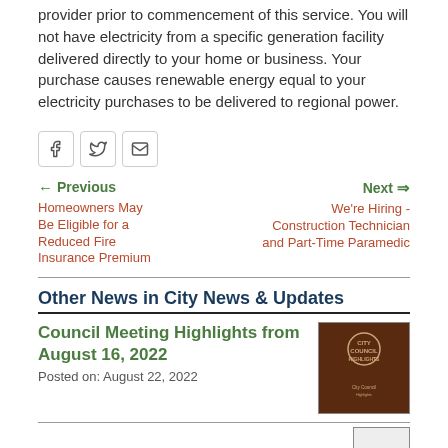provider prior to commencement of this service. You will not have electricity from a specific generation facility delivered directly to your home or business. Your purchase causes renewable energy equal to your electricity purchases to be delivered to regional power.
[Figure (other): Social share buttons: Facebook, Twitter, Email]
← Previous
Homeowners May Be Eligible for a Reduced Fire Insurance Premium
Next ⇒
We're Hiring - Construction Technician and Part-Time Paramedic
Other News in City News & Updates
Council Meeting Highlights from August 16, 2022
Posted on: August 22, 2022
[Figure (photo): City Council Highlights logo image - dark brown background with text 'CITY COUNCIL HIGHLIGHTS']